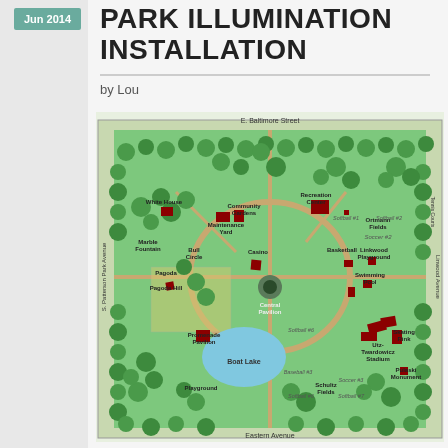Jun 2014
PARK ILLUMINATION INSTALLATION
by Lou
[Figure (map): Park map showing Patterson Park with labeled features including: E. Baltimore Street (north border), Eastern Avenue (south border), S. Patterson Park Avenue (west border), Linwood Avenue (east border). Features labeled include: White House, Community Gardens, Recreation Center, Maintenance Yard, Marble Fountain, Bull Circle, Casino, Pagoda, Pagoda Hill, Central Pavilion, Promenade Pavilion, Boat Lake, Playground, Basketball, Linkwood Playground, Swimming Pool, Ortmann Fields, Utz-Twardowicz Stadium, Skating Rink, Pulaski Monument, Schultz Fields, Tennis Courts. Various softball, soccer, and baseball fields are also labeled. Buildings shown as dark red rectangles, paths and roads as tan lines, water as light blue, tree canopy as green circles.]